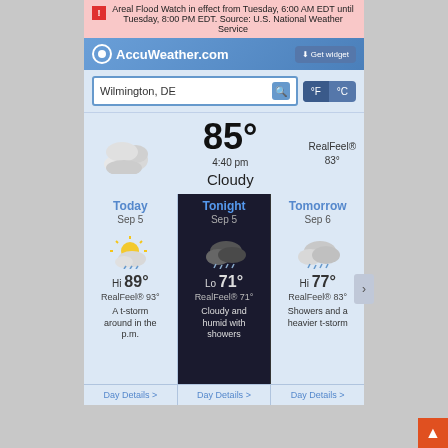Areal Flood Watch in effect from Tuesday, 6:00 AM EDT until Tuesday, 8:00 PM EDT. Source: U.S. National Weather Service
[Figure (screenshot): AccuWeather widget header with logo and Get widget button]
Wilmington, DE
°F °C
85° RealFeel® 83° 4:40 pm Cloudy
| Today | Tonight | Tomorrow |
| --- | --- | --- |
| Sep 5 | Sep 5 | Sep 6 |
| Hi 89°
RealFeel® 93°
A t-storm around in the p.m. | Lo 71°
RealFeel® 71°
Cloudy and humid with showers | Hi 77°
RealFeel® 83°
Showers and a heavier t-storm |
Day Details > Day Details > Day Details >